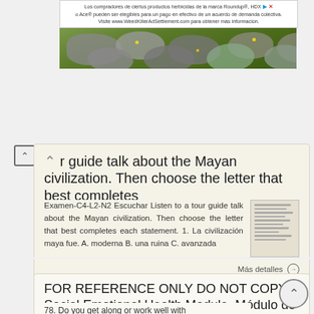[Figure (screenshot): Advertisement banner in Spanish for Roundup/HDX/Ace herbicide products with weed killer settlement information and a photo of a stone path with yellow flowers.]
tour guide talk about the Mayan civilization. Then choose the letter that best completes
Examen-C4-L2-N2 Escuchar Listen to a tour guide talk about the Mayan civilization. Then choose the letter that best completes each statement. 1. La civilización maya fue. A. moderna B. una ruina C. avanzada
Más detalles →
FOR REFERENCE ONLY DO NOT COPY. Social Emotional Health Module. Módulo de Salud Emocional Social SUPPLEMENT 1
78. Do you get along or work well with